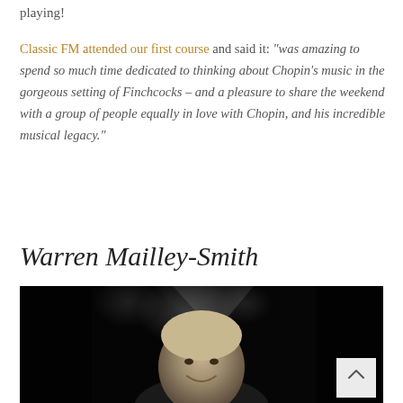playing!
Classic FM attended our first course and said it: “was amazing to spend so much time dedicated to thinking about Chopin’s music in the gorgeous setting of Finchcocks – and a pleasure to share the weekend with a group of people equally in love with Chopin, and his incredible musical legacy.”
Warren Mailley-Smith
[Figure (photo): Black and white photograph of Warren Mailley-Smith, a man seated near a grand piano, smiling, with a blurred background. A scroll-up button is visible in the bottom-right corner of the photo.]